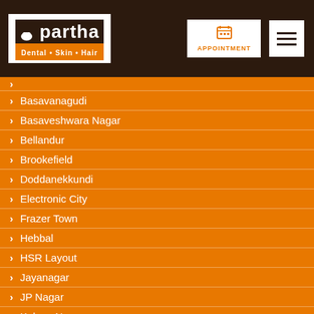[Figure (logo): Partha Dental Skin Hair logo with white background on dark brown header]
Basavanagudi
Basaveshwara Nagar
Bellandur
Brookefield
Doddanekkundi
Electronic City
Frazer Town
Hebbal
HSR Layout
Jayanagar
JP Nagar
Kalyan Nagar
Kengeri Satellite Town
Koramangala
Malleshwaram
Marathahalli
Nagarbhavi
Ramamurthy Nagar